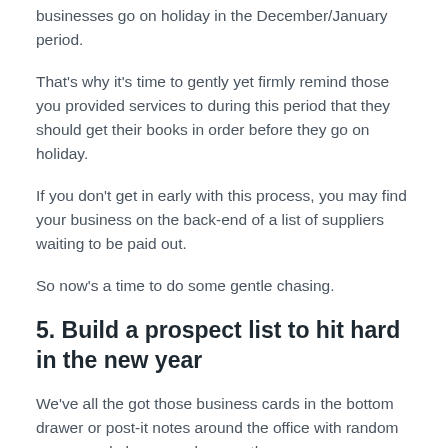businesses go on holiday in the December/January period.
That's why it's time to gently yet firmly remind those you provided services to during this period that they should get their books in order before they go on holiday.
If you don't get in early with this process, you may find your business on the back-end of a list of suppliers waiting to be paid out.
So now's a time to do some gentle chasing.
5. Build a prospect list to hit hard in the new year
We've all the got those business cards in the bottom drawer or post-it notes around the office with random names and phone numbers on them.
Perhaps they were meant to go onto a prospecting list,